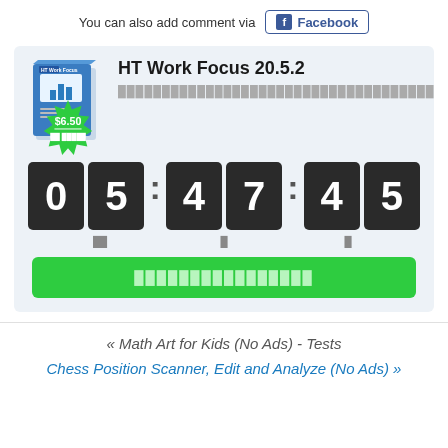You can also add comment via Facebook
[Figure (screenshot): HT Work Focus 20.5.2 software product promotion box with countdown timer showing 05:47:45, green $6.50 badge, and green buy button]
« Math Art for Kids (No Ads) - Tests
Chess Position Scanner, Edit and Analyze (No Ads) »